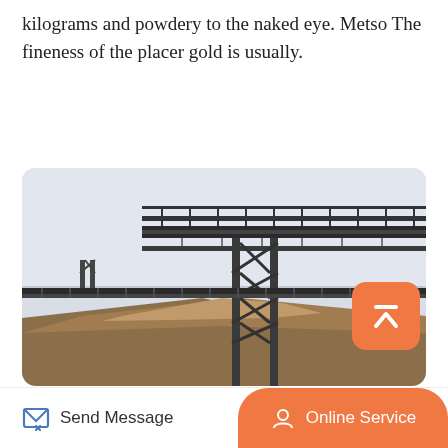kilograms and powdery to the naked eye. Metso The fineness of the placer gold is usually.
[Figure (other): Orange rounded button labeled 'Read More']
[Figure (photo): Industrial conveyor belt structure supported by a tall metal lattice tower at a mining site. The conveyor spans horizontally at height. In the background are earthen mounds and overburden piles. The scene is outdoors with a pale grey sky.]
Send Message | Online Service